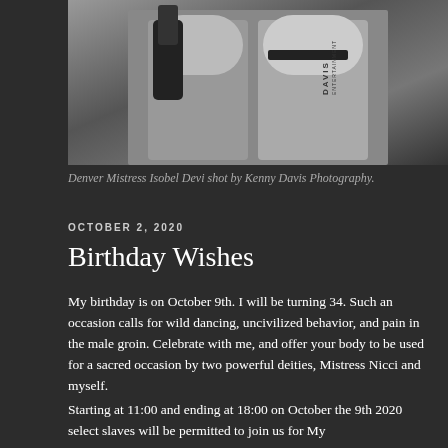[Figure (photo): Photo of Denver Mistress Isobel Devi shot by Kenny Davis Photography, showing two figures in black and white styling]
Denver Mistress Isobel Devi shot by Kenny Davis Photography.
OCTOBER 2, 2020
Birthday Wishes
My birthday is on October 9th. I will be turning 34. Such an occasion calls for wild dancing, uncivilized behavior, and pain in the male groin. Celebrate with me, and offer your body to be used for a sacred occasion by two powerful deities, Mistress Nicci and myself.
Starting at 11:00 and ending at 18:00 on October the 9th 2020 select slaves will be permitted to join us for My birthday celebration. Read below to learn how...